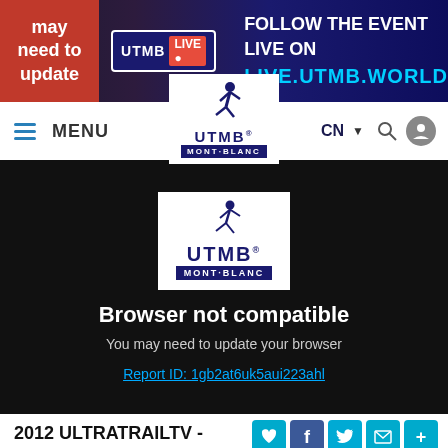[Figure (screenshot): Top promotional banner: red section on left with 'may need to update', UTMB LIVE badge in center, 'FOLLOW THE EVENT LIVE ON LIVE.UTMB.WORLD' text on dark blue/purple gradient background]
[Figure (screenshot): Website navigation bar with hamburger menu 'MENU', UTMB Mont-Blanc logo center, CN country selector, search and user icons on right]
[Figure (screenshot): Black video embed area showing UTMB Mont-Blanc logo, 'Browser not compatible' error message, 'You may need to update your browser' subtitle, and 'Report ID: 1gb2at6uk5aui223ahl' link]
2012 ULTRATRAILTV - NUTRITION
60137 Views / 1